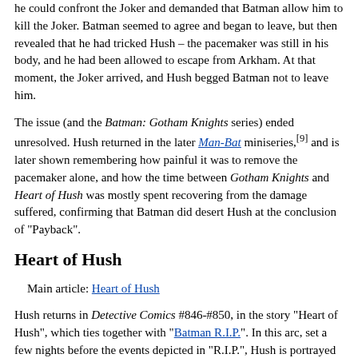he could confront the Joker and demanded that Batman allow him to kill the Joker. Batman seemed to agree and began to leave, but then revealed that he had tricked Hush – the pacemaker was still in his body, and he had been allowed to escape from Arkham. At that moment, the Joker arrived, and Hush begged Batman not to leave him.
The issue (and the Batman: Gotham Knights series) ended unresolved. Hush returned in the later Man-Bat miniseries,[9] and is later shown remembering how painful it was to remove the pacemaker alone, and how the time between Gotham Knights and Heart of Hush was mostly spent recovering from the damage suffered, confirming that Batman did desert Hush at the conclusion of "Payback".
Heart of Hush
Main article: Heart of Hush
Hush returns in Detective Comics #846-#850, in the story "Heart of Hush", which ties together with "Batman R.I.P.". In this arc, set a few nights before the events depicted in "R.I.P.", Hush is portrayed in a slightly different thematic fashion than in his prior appearances. His past as a surgeon serves as an important thematic aspect of his modus operandi. In the first issue, Hush reveals that